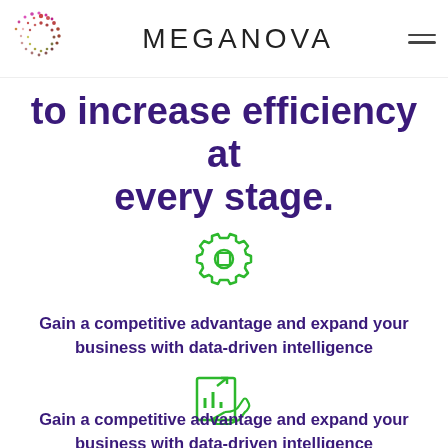MEGANOVA
Consult Eureka Intelligence
to increase efficiency at every stage.
[Figure (illustration): Green gear/processor icon with square in center]
Gain a competitive advantage and expand your business with data-driven intelligence
[Figure (illustration): Green icon of a hand pointing at a bar chart on a document]
Gain a competitive advantage and expand your business with data-driven intelligence